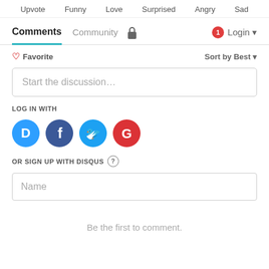Upvote  Funny  Love  Surprised  Angry  Sad
Comments  Community  Login
Favorite    Sort by Best
Start the discussion...
LOG IN WITH
[Figure (illustration): Social login buttons: Disqus (blue speech bubble with D), Facebook (dark purple circle with f), Twitter (light blue circle with bird), Google (red circle with G)]
OR SIGN UP WITH DISQUS ?
Name
Be the first to comment.